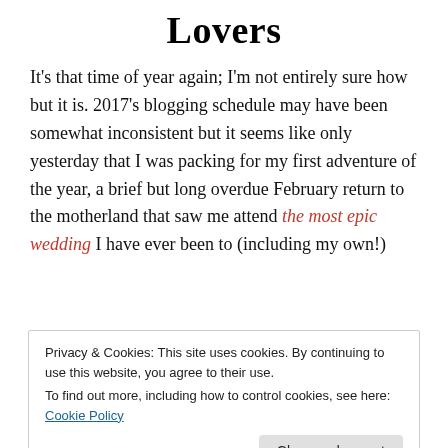Lovers
It's that time of year again; I'm not entirely sure how but it is. 2017's blogging schedule may have been somewhat inconsistent but it seems like only yesterday that I was packing for my first adventure of the year, a brief but long overdue February return to the motherland that saw me attend the most epic wedding I have ever been to (including my own!)
Privacy & Cookies: This site uses cookies. By continuing to use this website, you agree to their use.
To find out more, including how to control cookies, see here: Cookie Policy
[Figure (photo): Night cityscape with lights and sparkles at the bottom of the page]